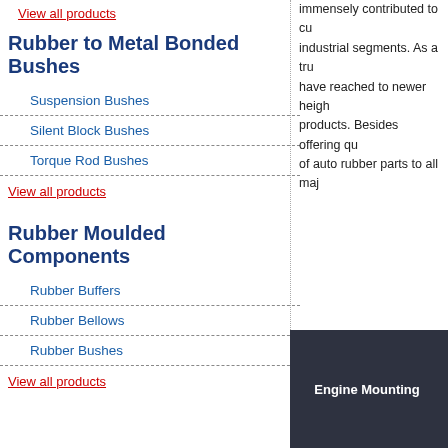View all products
Rubber to Metal Bonded Bushes
Suspension Bushes
Silent Block Bushes
Torque Rod Bushes
View all products
Rubber Moulded Components
Rubber Buffers
Rubber Bellows
Rubber Bushes
View all products
immensely contributed to cu... industrial segments. As a tru... have reached to newer heigh... products. Besides offering qu... of auto rubber parts to all maj...
[Figure (photo): Dark background panel with text 'Engine Mounting' in white bold font]